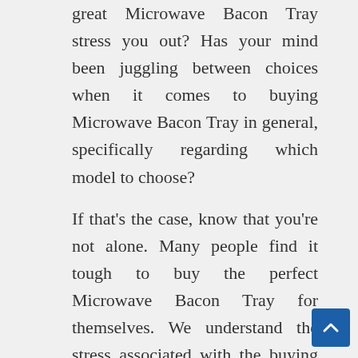great Microwave Bacon Tray stress you out? Has your mind been juggling between choices when it comes to buying Microwave Bacon Tray in general, specifically regarding which model to choose?
If that's the case, know that you're not alone. Many people find it tough to buy the perfect Microwave Bacon Tray for themselves. We understand the stress associated with the buying process!
Since you're here, you are obviously curious about